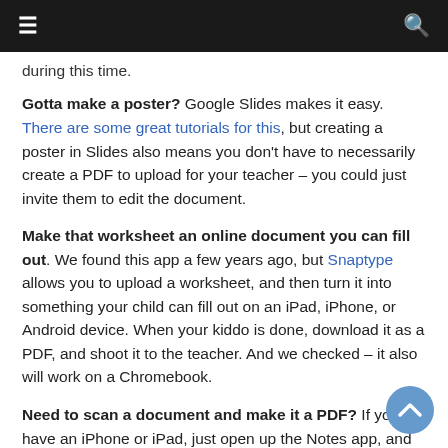≡  [navigation bar]  🔍
during this time.
Gotta make a poster? Google Slides makes it easy. There are some great tutorials for this, but creating a poster in Slides also means you don't have to necessarily create a PDF to upload for your teacher – you could just invite them to edit the document.
Make that worksheet an online document you can fill out. We found this app a few years ago, but Snaptype allows you to upload a worksheet, and then turn it into something your child can fill out on an iPad, iPhone, or Android device. When your kiddo is done, download it as a PDF, and shoot it to the teacher. And we checked – it also will work on a Chromebook.
Need to scan a document and make it a PDF? If you have an iPhone or iPad, just open up the Notes app, and click on the camera at the bottom of it. From there you will...